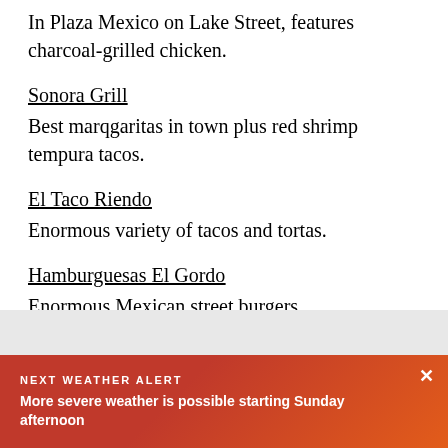In Plaza Mexico on Lake Street, features charcoal-grilled chicken.
Sonora Grill
Best marqgaritas in town plus red shrimp tempura tacos.
El Taco Riendo
Enormous variety of tacos and tortas.
Hamburguesas El Gordo
Enormous Mexican street burgers.
NEXT WEATHER ALERT
More severe weather is possible starting Sunday afternoon